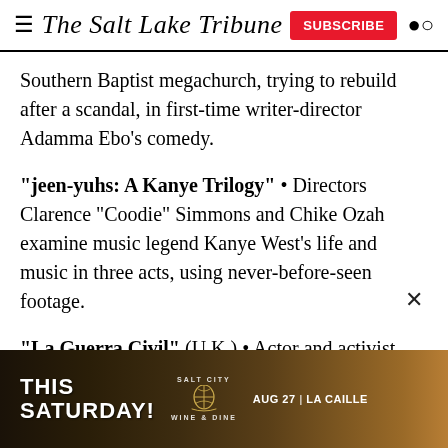The Salt Lake Tribune
Southern Baptist megachurch, trying to rebuild after a scandal, in first-time writer-director Adamma Ebo’s comedy.
“jeen-yuhs: A Kanye Trilogy” • Directors Clarence “Coodie” Simmons and Chike Ozah examine music legend Kanye West’s life and music in three acts, using never-before-seen footage.
“La Guerra Civil” (U.K.) • Actor and activist Eva Longoria Bastón makes her documentary directing
[Figure (other): Advertisement banner for Salt City Wine & Dine event: THIS SATURDAY! SALT CITY WINE & DINE | AUG 27 | LA CAILLE]